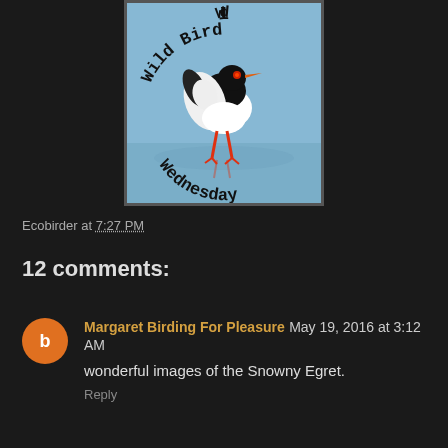[Figure (illustration): Wild Bird Wednesday badge showing an oystercatcher bird with black and white plumage and orange beak, standing on water/beach. Text 'Wild Bird' arcs across the top and 'Wednesday' appears at the bottom in typewriter font.]
Ecobirder at 7:27 PM
12 comments:
Margaret Birding For Pleasure  May 19, 2016 at 3:12 AM
wonderful images of the Snowny Egret.
Reply